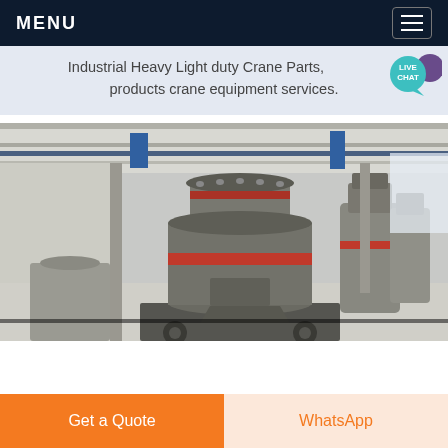MENU
Industrial Heavy Light duty Crane Parts, products crane equipment services.
[Figure (photo): Industrial facility interior showing large cylindrical vertical mill grinding machines (likely Raymond mills or similar) in a factory/warehouse setting with overhead cranes and industrial framework visible in background.]
Get a Quote
WhatsApp